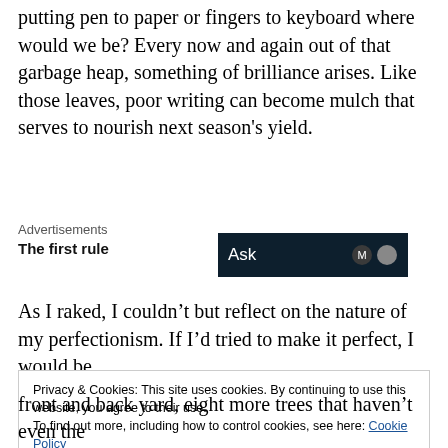putting pen to paper or fingers to keyboard where would we be? Every now and again out of that garbage heap, something of brilliance arises. Like those leaves, poor writing can become mulch that serves to nourish next season's yield.
Advertisements
The first rule
[Figure (screenshot): Dark navy advertisement banner with text 'Ask' and circular logo icons]
As I raked, I couldn't but reflect on the nature of my perfectionism. If I'd tried to make it perfect, I would be
Privacy & Cookies: This site uses cookies. By continuing to use this website, you agree to their use.
To find out more, including how to control cookies, see here: Cookie Policy
Close and accept
front and back yard, eight more trees that haven't even the